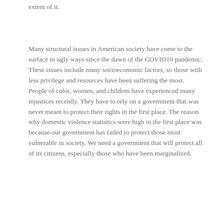extent of it.
Many structural issues in American society have come to the surface in ugly ways since the dawn of the COVID19 pandemic. These issues include many socioeconomic factors, so those with less privilege and resources have been suffering the most. People of color, women, and children have experienced many injustices recently. They have to rely on a government that was never meant to protect their rights in the first place. The reason why domestic violence statistics were high in the first place was because our government has failed to protect those most vulnerable in society. We need a government that will protect all of its citizens, especially those who have been marginalized.